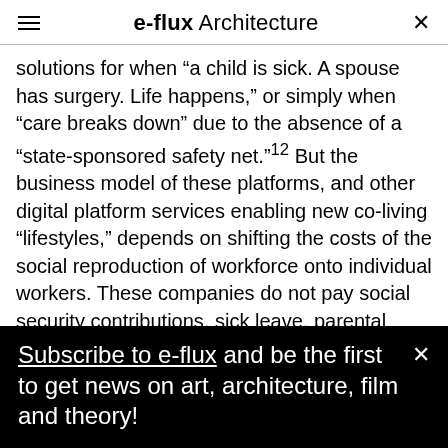e-flux Architecture
solutions for when “a child is sick. A spouse has surgery. Life happens,” or simply when “care breaks down” due to the absence of a “state-sponsored safety net.”¹² But the business model of these platforms, and other digital platform services enabling new co-living “lifestyles,” depends on shifting the costs of the social reproduction of workforce onto individual workers. These companies do not pay social security contributions, sick leave, parental leave, or compensation for injury. If someone working for My Family Care has a sick kid or a broken hip, it’s unlikely they’ll be able to afford their own services.
Subscribe to e-flux and be the first to get news on art, architecture, film and theory!